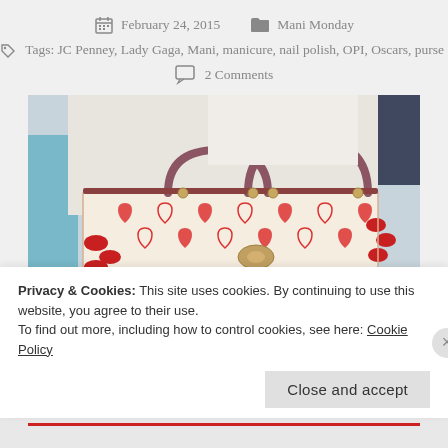February 24, 2015   Mani Monday
Tags: JC Penney, Lady Gaga, Mani, manicure, nail polish, OPI, Oscars, purse
2 Comments
[Figure (photo): Close-up photo of hands with red nail polish holding a cream purse decorated with red heart patterns, with brown leather handles. Person is wearing a white top.]
Privacy & Cookies: This site uses cookies. By continuing to use this website, you agree to their use.
To find out more, including how to control cookies, see here: Cookie Policy
Close and accept